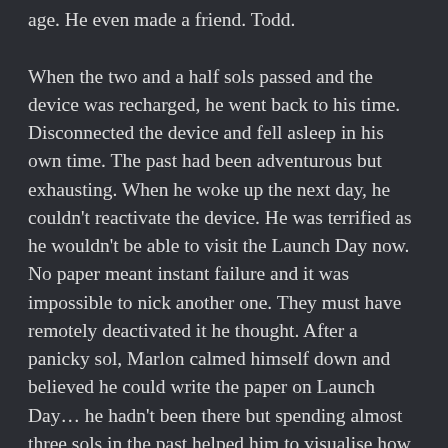age. He even made a friend. Todd.

When the two and a half sols passed and the device was recharged, he went back to his time. Disconnected the device and fell asleep in his own time. The past had been adventurous but exhausting. When he woke up the next day, he couldn't reactivate the device. He was terrified as he wouldn't be able to visit the Launch Day now. No paper meant instant failure and it was impossible to nick another one. They must have remotely deactivated it he thought. After a panicky sol, Marlon calmed himself down and believed he could write the paper on Launch Day… he hadn't been there but spending almost three sols in the past helped him to visualise how it could be… crowds, cheers, a rocket launch and live TV coverage… lots of noise. He spent the rest of the sol, inventing a